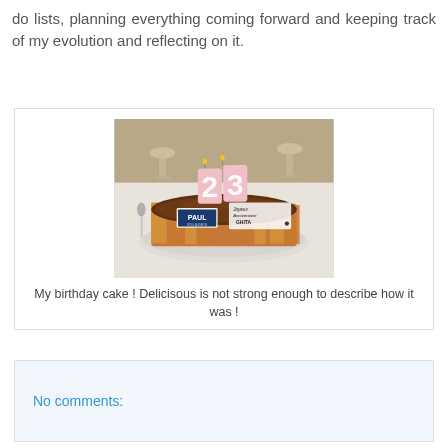do lists, planning everything coming forward and keeping track of my evolution and reflecting on it.
[Figure (photo): A chocolate birthday cake with the number '23' candles on top, decorated with cracker pieces around the sides, a PAUL bakery label, and text reading 'Joyeux Anniversaire GHITA'. The cake sits on a plate on a white tablecloth with wine glasses in the background.]
My birthday cake ! Delicisous is not strong enough to describe how it was !
No comments: